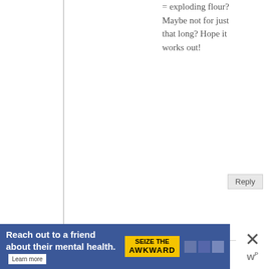= exploding flour? Maybe not for just that long? Hope it works out!
Reply
Lauren at Keep It Sweet
March 20, 2011 at 2:15 pm (11 years ago)
I'm in love! This seems like the best way to cure a cold. While some people lose their appetite when they get sick, I am the exact opposite. Bring on the cookie dough:-)
Reply
[Figure (screenshot): Ad banner: 'Reach out to a friend about their mental health. Learn more' with 'SEIZE THE AWKWARD' badge on blue background]